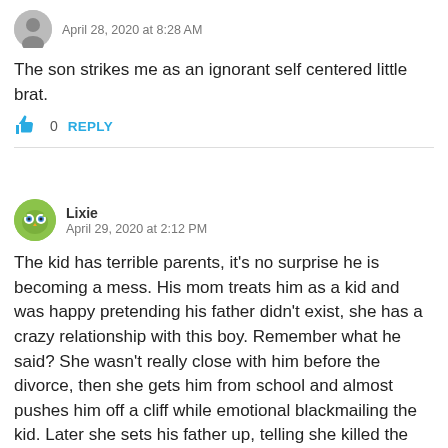April 28, 2020 at 8:28 AM
The son strikes me as an ignorant self centered little brat.
0   REPLY
Lixie
April 29, 2020 at 2:12 PM
The kid has terrible parents, it's no surprise he is becoming a mess. His mom treats him as a kid and was happy pretending his father didn't exist, she has a crazy relationship with this boy. Remember what he said? She wasn't really close with him before the divorce, then she gets him from school and almost pushes him off a cliff while emotional blackmailing the kid. Later she sets his father up, telling she killed the kid so boy has to find them like that. Let's not